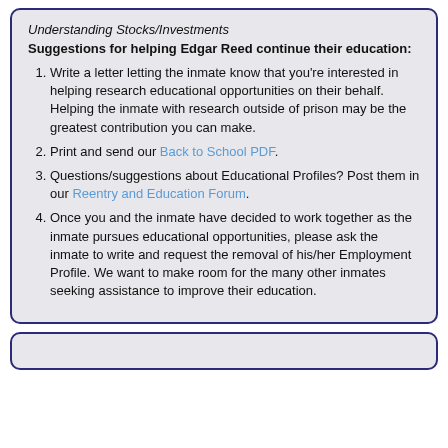Understanding Stocks/Investments
Suggestions for helping Edgar Reed continue their education:
Write a letter letting the inmate know that you're interested in helping research educational opportunities on their behalf. Helping the inmate with research outside of prison may be the greatest contribution you can make.
Print and send our Back to School PDF.
Questions/suggestions about Educational Profiles? Post them in our Reentry and Education Forum.
Once you and the inmate have decided to work together as the inmate pursues educational opportunities, please ask the inmate to write and request the removal of his/her Employment Profile. We want to make room for the many other inmates seeking assistance to improve their education.